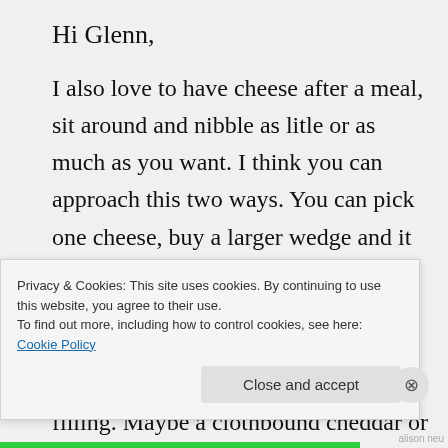Hi Glenn,
I also love to have cheese after a meal, sit around and nibble as litle or as much as you want. I think you can approach this two ways. You can pick one cheese, buy a larger wedge and it will be a beautiful end to the meal or centerpiece if you’re sitting around a table. In this case I might stay away from softer, richer cheeses that are filling. Maybe a clothbound cheddar or a
Privacy & Cookies: This site uses cookies. By continuing to use this website, you agree to their use.
To find out more, including how to control cookies, see here: Cookie Policy
Close and accept